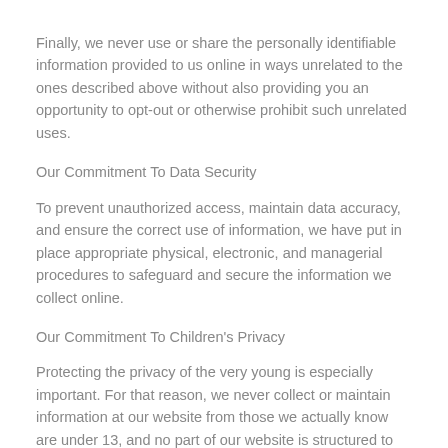Finally, we never use or share the personally identifiable information provided to us online in ways unrelated to the ones described above without also providing you an opportunity to opt-out or otherwise prohibit such unrelated uses.
Our Commitment To Data Security
To prevent unauthorized access, maintain data accuracy, and ensure the correct use of information, we have put in place appropriate physical, electronic, and managerial procedures to safeguard and secure the information we collect online.
Our Commitment To Children's Privacy
Protecting the privacy of the very young is especially important. For that reason, we never collect or maintain information at our website from those we actually know are under 13, and no part of our website is structured to attract anyone under 13.
How You Can Access Or Correct Your Information